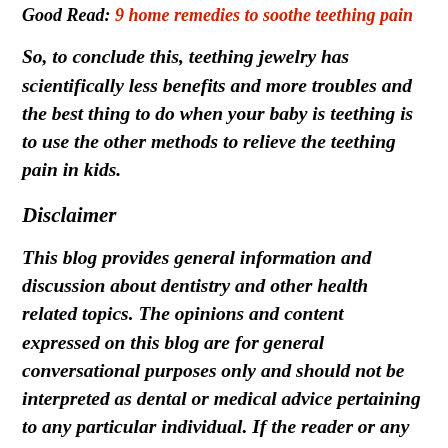Good Read: 9 home remedies to soothe teething pain
So, to conclude this, teething jewelry has scientifically less benefits and more troubles and the best thing to do when your baby is teething is to use the other methods to relieve the teething pain in kids.
Disclaimer
This blog provides general information and discussion about dentistry and other health related topics. The opinions and content expressed on this blog are for general conversational purposes only and should not be interpreted as dental or medical advice pertaining to any particular individual. If the reader or any other person has a dental or medical concern, he or she should consult with